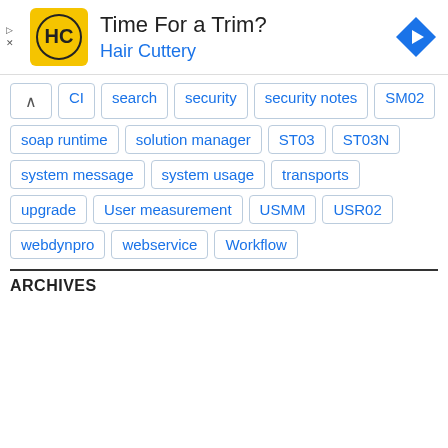[Figure (infographic): Advertisement banner for Hair Cuttery with logo, tagline 'Time For a Trim?', brand name 'Hair Cuttery', and navigation arrow icon]
CI
search
security
security notes
SM02
soap runtime
solution manager
ST03
ST03N
system message
system usage
transports
upgrade
User measurement
USMM
USR02
webdynpro
webservice
Workflow
ARCHIVES